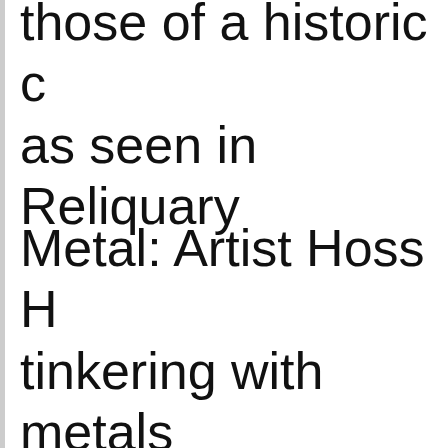those of a historic c as seen in Reliquary
Metal: Artist Hoss H tinkering with metals young age in his fat on the family farm in Haley's coil sculptur capabilities of ste